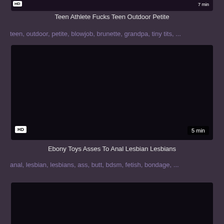[Figure (screenshot): Dark video thumbnail at top, partially visible, with HD badge and 7 min duration label]
Teen Athlete Fucks Teen Outdoor Petite
teen, outdoor, petite, blowjob, brunette, grandpa, tiny tits, ...
[Figure (screenshot): Dark video thumbnail, HD badge bottom-left, 5 min duration bottom-right]
Ebony Toys Asses To Anal Lesbian Lesbians
anal, lesbian, lesbians, ass, butt, bdsm, fetish, bondage, ...
[Figure (screenshot): Dark video thumbnail at bottom, partially visible]